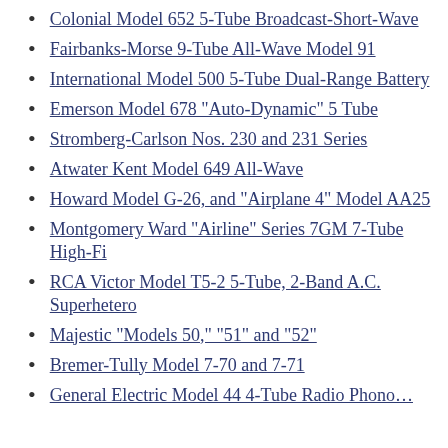Colonial Model 652 5-Tube Broadcast-Short-Wave
Fairbanks-Morse 9-Tube All-Wave Model 91
International Model 500 5-Tube Dual-Range Battery
Emerson Model 678 "Auto-Dynamic" 5 Tube
Stromberg-Carlson Nos. 230 and 231 Series
Atwater Kent Model 649 All-Wave
Howard Model G-26, and "Airplane 4" Model AA25
Montgomery Ward "Airline" Series 7GM 7-Tube High-Fi…
RCA Victor Model T5-2 5-Tube, 2-Band A.C. Superhetero…
Majestic "Models 50," "51" and "52"
Bremer-Tully Model 7-70 and 7-71
General Electric Model 44 4-Tube Radio Phono…